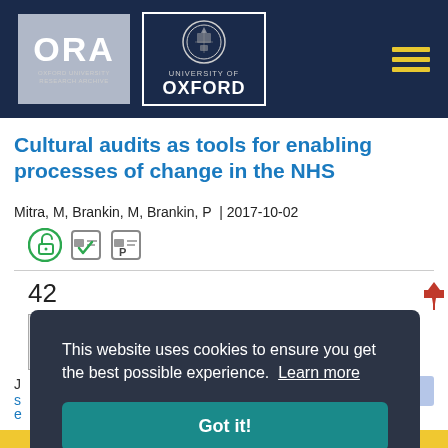ORA Oxford University Research Archive | University of Oxford
Cultural audits as tools for enabling processes of change in the NHS
Mitra, M, Brankin, M, Brankin, P  |  2017-10-02
[Figure (other): Open access badge, peer review badge, and preprint badge icons]
42
[Figure (other): Article thumbnail card showing document preview]
This website uses cookies to ensure you get the best possible experience.  Learn more
Got it!